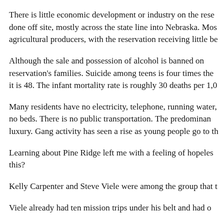There is little economic development or industry on the reservation. Work is done off site, mostly across the state line into Nebraska. Most land is leased to agricultural producers, with the reservation receiving little benefit.
Although the sale and possession of alcohol is banned on the reservation, alcohol devastates reservation's families. Suicide among teens is four times the national rate. Life expectancy it is 48. The infant mortality rate is roughly 30 deaths per 1,000 live births.
Many residents have no electricity, telephone, running water, or sewage systems and sleep on no beds. There is no public transportation. The predominant mode of transportation is a luxury. Gang activity has seen a rise as young people go to the cities to find work.
Learning about Pine Ridge left me with a feeling of hopelessness. How did it get to be this?
Kelly Carpenter and Steve Viele were among the group that traveled to Pine Ridge.
Viele already had ten mission trips under his belt and had often